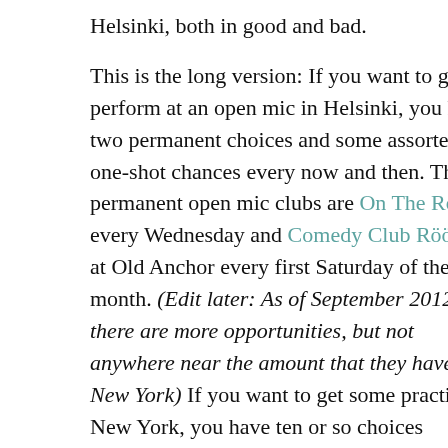Helsinki, both in good and bad.
This is the long version: If you want to go to perform at an open mic in Helsinki, you have two permanent choices and some assorted one-shot chances every now and then. The permanent open mic clubs are On The Rocks every Wednesday and Comedy Club Rööperi at Old Anchor every first Saturday of the month. (Edit later: As of September 2012, there are more opportunities, but not anywhere near the amount that they have in New York) If you want to get some practise in New York, you have ten or so choices EVERY WEEKDAY NIGHT. Badslava.com has an excellent list of the mics.
I did four different mics in NYC and only one of